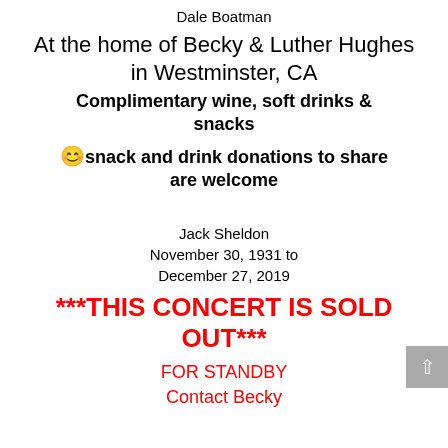Dale Boatman
At the home of Becky & Luther Hughes
in Westminster, CA
Complimentary wine, soft drinks & snacks
😊snack and drink donations to share are welcome
Jack Sheldon
November 30, 1931 to
December 27, 2019
***THIS CONCERT IS SOLD OUT***
FOR STANDBY
Contact Becky